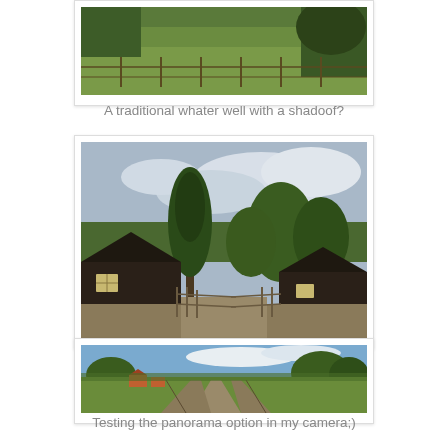[Figure (photo): Partial view of a green grassy field with a traditional water well structure, partially cropped at top of page]
A traditional whater well with a shadoof?
[Figure (photo): Rural path between dark wooden log cabins flanked by wooden fences and tall trees, overcast sky]
[Figure (photo): Panoramic view of a rural dirt road splitting into two paths through green fields with fences and trees, blue sky]
Testing the panorama option in my camera;)